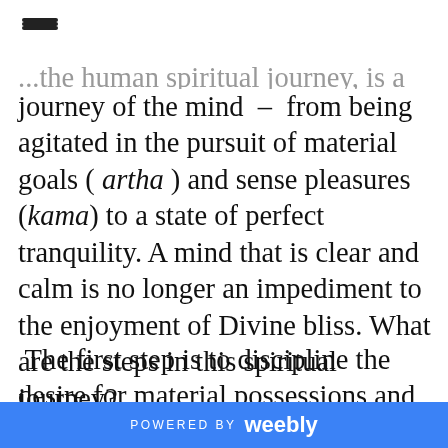≡
...the human spiritual journey, is a journey of the mind – from being agitated in the pursuit of material goals ( artha ) and sense pleasures (kama) to a state of perfect tranquility. A mind that is clear and calm is no longer an impediment to the enjoyment of Divine bliss. What are the steps in this spiritual journey?
The first step is to discipline the desire for material possessions and sense pleasures. This is done by
POWERED BY weebly